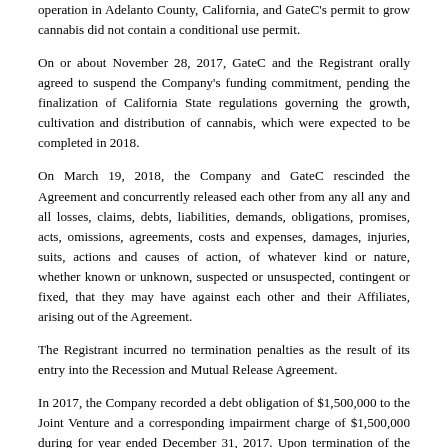operation in Adelanto County, California, and GateC's permit to grow cannabis did not contain a conditional use permit.
On or about November 28, 2017, GateC and the Registrant orally agreed to suspend the Company's funding commitment, pending the finalization of California State regulations governing the growth, cultivation and distribution of cannabis, which were expected to be completed in 2018.
On March 19, 2018, the Company and GateC rescinded the Agreement and concurrently released each other from any all any and all losses, claims, debts, liabilities, demands, obligations, promises, acts, omissions, agreements, costs and expenses, damages, injuries, suits, actions and causes of action, of whatever kind or nature, whether known or unknown, suspected or unsuspected, contingent or fixed, that they may have against each other and their Affiliates, arising out of the Agreement.
The Registrant incurred no termination penalties as the result of its entry into the Recession and Mutual Release Agreement.
In 2017, the Company recorded a debt obligation of $1,500,000 to the Joint Venture and a corresponding impairment charge of $1,500,000 during for year ended December 31, 2017. Upon termination of the material definitive agreement on March 19, 2018, the Company realized a gain on settlement of debt obligation of $1,500,000 during the six months ended June 30, 2018. As of December 31, 2018, we determined our joint venture with GateC to be fully impaired as having